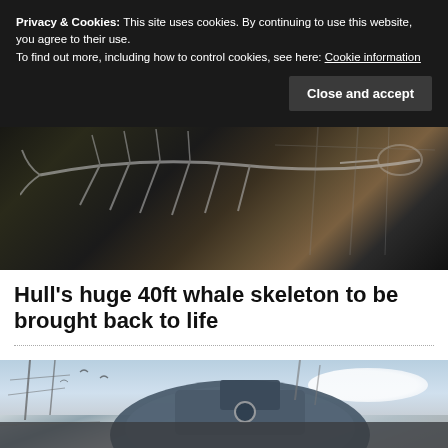Privacy & Cookies: This site uses cookies. By continuing to use this website, you agree to their use.
To find out more, including how to control cookies, see here: Cookie information
Close and accept
[Figure (photo): Dark image showing a whale skeleton displayed in what appears to be a museum or industrial setting, with structural beams visible in the background]
Hull's huge 40ft whale skeleton to be brought back to life
[Figure (photo): Photograph showing a large ship hull or vessel outdoors, with a blue sky and clouds in the background, and scaffolding or masts visible]